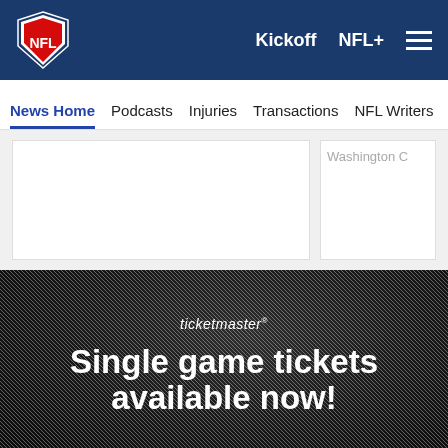NFL | Kickoff | NFL+
News Home | Podcasts | Injuries | Transactions | NFL Writers | Se...
[Figure (screenshot): Two white rectangular content cards on a light grey background. Left card is wide, right card shows partial text 'Washington C']
[Figure (photo): Ticketmaster advertisement banner on dark textured background. Text: 'ticketmaster' and 'Single game tickets available now!']
ticketmaster
Single game tickets available now!
[Figure (infographic): Social sharing icons row: Facebook, Twitter, Email, Link]